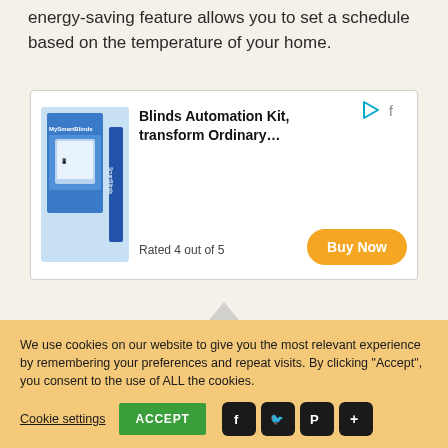energy-saving feature allows you to set a schedule based on the temperature of your home.
[Figure (other): Advertisement box for MySmartBlinds Blinds Automation Kit. Shows product box image on left, title 'Blinds Automation Kit, transform Ordinary...', rating 'Rated 4 out of 5', and an orange 'Buy Now' button. Play and share icons at top right.]
We use cookies on our website to give you the most relevant experience by remembering your preferences and repeat visits. By clicking “Accept”, you consent to the use of ALL the cookies.
Cookie settings
ACCEPT